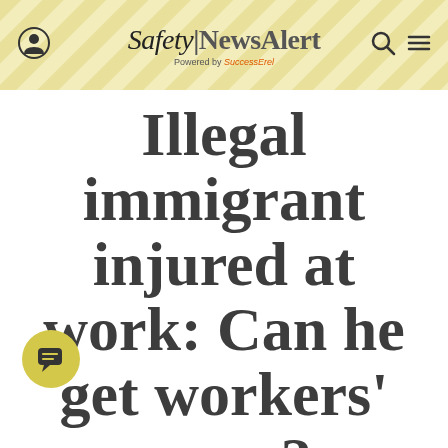Safety|NewsAlert Powered by SuccessErel
Illegal immigrant injured at work: Can he get workers' comp?